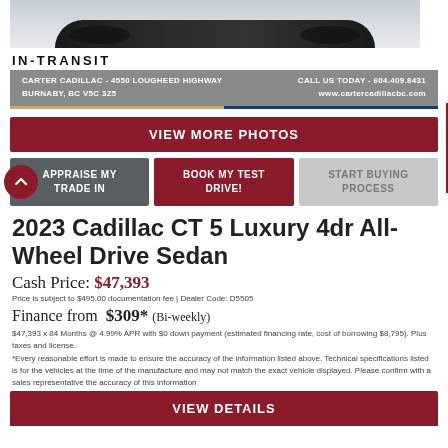[Figure (photo): Partial view of a dark-colored Cadillac sedan from above/front, showing the hood and front wheels]
IN-TRANSIT
CARTER CADILLAC - 4550 LOUGHEED HIGHWAY BURNABY, BC V5C 3Z5 | CALL US TODAY - 604.409.8431 www.cartercadillacbc.com
VIEW MORE PHOTOS
APPRAISE MY TRADE IN | BOOK MY TEST DRIVE! | START BUYING PROCESS
2023 Cadillac CT 5 Luxury 4dr All-Wheel Drive Sedan
Cash Price: $47,393
Price is subject to $495.00 documentation fee | Dealer Code: D5505
Finance from $309* (Bi-weekly)
$47,393 x 84 Months @ 4.99% APR with $0 down payment (estimated financing rate, cost of borrowing $8,795). Plus taxes and license.
*Every reasonable effort is made to ensure the accuracy of the information listed above. Technical specifications listed is for the vehicles at the time of the manufacture and may not match the exact vehicle displayed. Please confirm with a sales representative the accuracy of this information
VIEW DETAILS